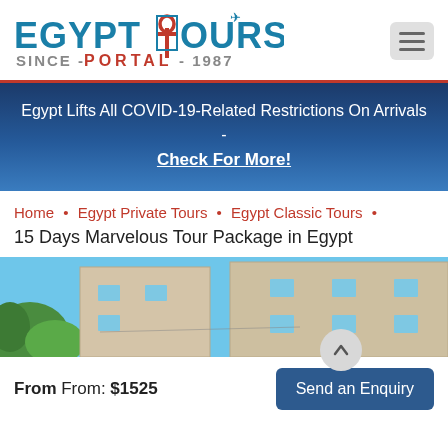[Figure (logo): Egypt Tours Portal logo — teal 'EGYPT TOURS' text with ankh symbol, red 'SINCE-PORTAL-1987' below]
[Figure (other): Hamburger menu icon button (three horizontal lines) on grey rounded rectangle background]
Egypt Lifts All COVID-19-Related Restrictions On Arrivals - Check For More!
Home • Egypt Private Tours • Egypt Classic Tours •
15 Days Marvelous Tour Package in Egypt
[Figure (photo): Photo of ancient Egyptian stone temple or fortress walls with square window openings under a bright blue sky, with green foliage on the left side]
From From: $1525
Send an Enquiry